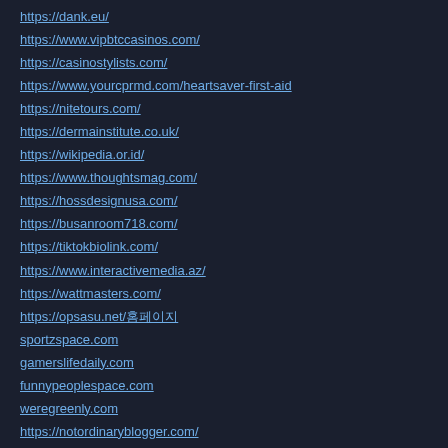https://dank.eu/
https://www.vipbtccasinos.com/
https://casinostylists.com/
https://www.yourcprmd.com/heartsaver-first-aid
https://nitetours.com/
https://dermainstitute.co.uk/
https://wikipedia.or.id/
https://www.thoughtsmag.com/
https://hossdesignusa.com/
https://busanroom718.com/
https://tiktokbiolink.com/
https://www.interactivemedia.az/
https://wattmasters.com/
https://opsasu.net/홈페이지
sportzspace.com
gamerslifedaily.com
funnypeoplespace.com
weregreenly.com
https://notordinaryblogger.com/
https://www.blankenshipdrygoods.com/
http://buildagardenpond.com/
yes4cleanwater.org
https://pestcontrol-ny.com/